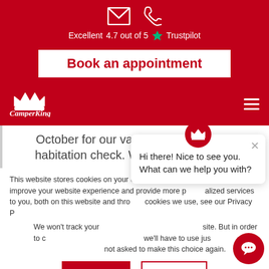Excellent 4.7 out of 5 ★ Trustpilot
[Figure (screenshot): Book an appointment button on red background]
[Figure (logo): CamperKing logo on red navigation bar with hamburger menu]
October for our van to have its annual habitation check. We would like to say
This website stores cookies on your computer. These cookies are used to improve your website experience and provide more personalized services to you, both on this website and through other media. To find out more about the cookies we use, see our Privacy Policy.
We won't track your information when you visit our site. But in order to comply with your preferences, we'll have to use just one tiny cookie so that you're not asked to make this choice again.
[Figure (screenshot): Chat popup: Hi there! Nice to see you. What can we help you with? with CamperKing crown logo and X close button]
Accept
Decline